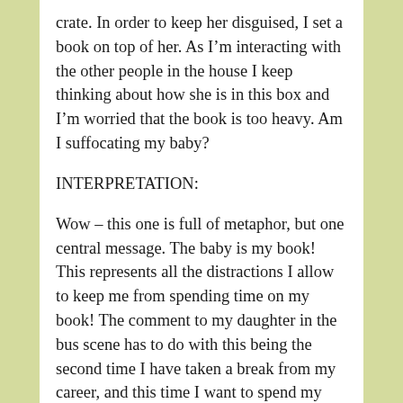crate. In order to keep her disguised, I set a book on top of her. As I’m interacting with the other people in the house I keep thinking about how she is in this box and I’m worried that the book is too heavy. Am I suffocating my baby?
INTERPRETATION:
Wow – this one is full of metaphor, but one central message. The baby is my book! This represents all the distractions I allow to keep me from spending time on my book! The comment to my daughter in the bus scene has to do with this being the second time I have taken a break from my career, and this time I want to spend my time in the right way. The blonde woman wanting to take my baby represents how I tend to sabotage myself and my dreams. I believe the baby always being swaddled represents my fear of putting my book out there. What will